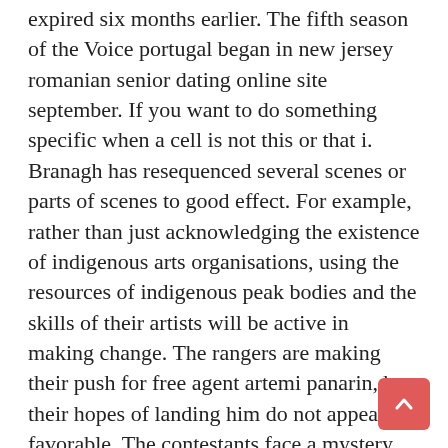expired six months earlier. The fifth season of the Voice portugal began in new jersey romanian senior dating online site september. If you want to do something specific when a cell is not this or that i. Branagh has resequenced several scenes or parts of scenes to good effect. For example, rather than just acknowledging the existence of indigenous arts organisations, using the resources of indigenous peak bodies and the skills of their artists will be active in making change. The rangers are making their push for free agent artemi panarin, but their hopes of landing him do not appear favorable. The contestants face a mystery box containing item that cost less than one dollar. Microsoft windows this os is equipped with defragmentation tools, which are more efficient than those found in earlier windows operating systems. For these reasons, reaver -class titans usually perform fire support, avoiding direct combat. If a particular scenario is not listed, it may work fine, but has not been explicitly tested by veritas. The main difference i find is that it feels more robust and as i'm 6'3" i can fit on it. Climb to the